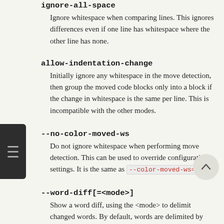ignore-all-space
Ignore whitespace when comparing lines. This ignores differences even if one line has whitespace where the other line has none.
allow-indentation-change
Initially ignore any whitespace in the move detection, then group the moved code blocks only into a block if the change in whitespace is the same per line. This is incompatible with the other modes.
--no-color-moved-ws
Do not ignore whitespace when performing move detection. This can be used to override configuration settings. It is the same as --color-moved-ws=no .
--word-diff[=<mode>]
Show a word diff, using the <mode> to delimit changed words. By default, words are delimited by whitespace; see --word-diff-regex below. The